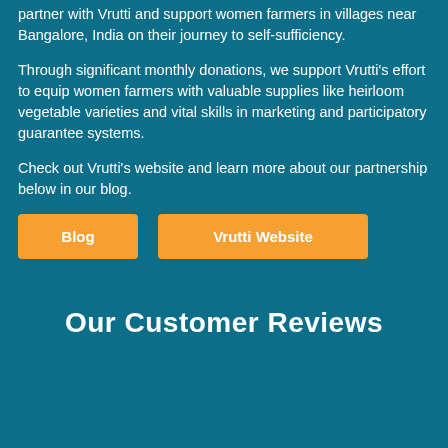partner with Vrutti and support women farmers in villages near Bangalore, India on their journey to self-sufficiency.
Through significant monthly donations, we support Vrutti's effort to equip women farmers with valuable supplies like heirloom vegetable varieties and vital skills in marketing and participatory guarantee systems.
Check out Vrutti's website and learn more about our partnership below in our blog.
[Figure (other): Two orange call-to-action buttons: 'Blog' on the left and 'Vrutti Website' on the right]
Our Customer Reviews